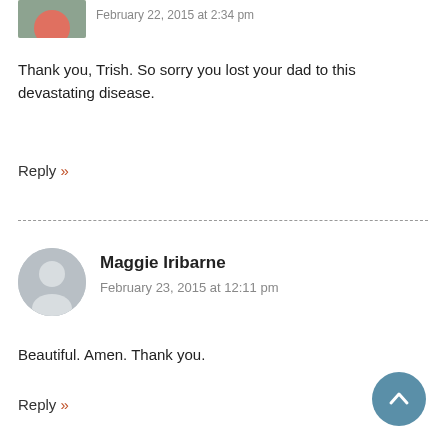[Figure (photo): Small avatar photo of a person in a red top and denim jacket, partially visible at top of page]
Thank you, Trish. So sorry you lost your dad to this devastating disease.
Reply »
[Figure (photo): Generic grey silhouette avatar for Maggie Iribarne]
Maggie Iribarne
February 23, 2015 at 12:11 pm
Beautiful. Amen. Thank you.
Reply »